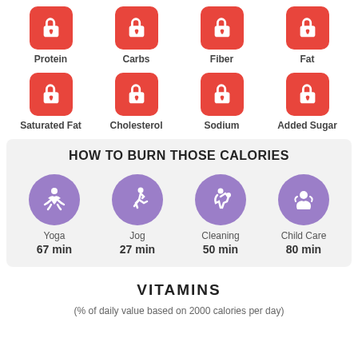[Figure (infographic): Row of 4 red lock icons with labels: Protein, Carbs, Fiber, Fat]
[Figure (infographic): Row of 4 red lock icons with labels: Saturated Fat, Cholesterol, Sodium, Added Sugar]
HOW TO BURN THOSE CALORIES
[Figure (infographic): 4 purple circle icons with activity figures and times: Yoga 67 min, Jog 27 min, Cleaning 50 min, Child Care 80 min]
VITAMINS
(% of daily value based on 2000 calories per day)